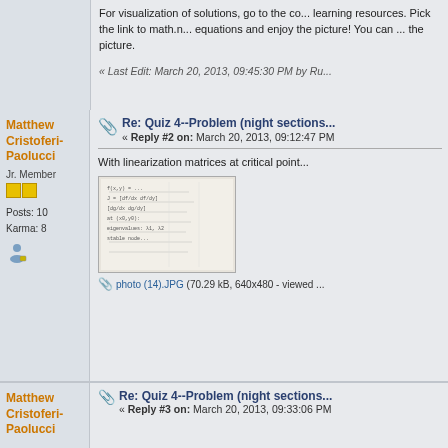For visualization of solutions, go to the course learning resources. Pick the link to math.n... equations and enjoy the picture! You can ... the picture.
« Last Edit: March 20, 2013, 09:45:30 PM by Ru...
Matthew Cristoferi-Paolucci
Jr. Member
Posts: 10
Karma: 8
Re: Quiz 4--Problem (night sections...
« Reply #2 on: March 20, 2013, 09:12:47 PM
With linearization matrices at critical point...
[Figure (photo): Handwritten mathematics notes on paper, showing linearization matrices work]
photo (14).JPG (70.29 kB, 640x480 - viewed ...
Matthew Cristoferi-Paolucci
Re: Quiz 4--Problem (night sections...
« Reply #3 on: March 20, 2013, 09:33:06 PM